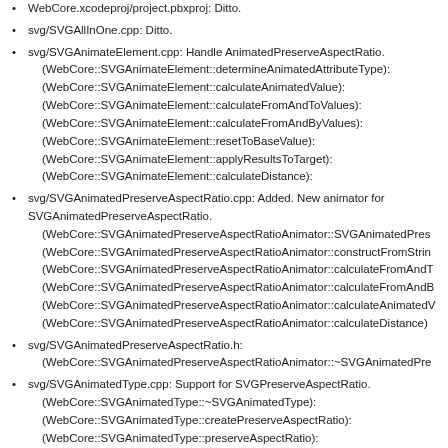WebCore.xcodeproj/project.pbxproj: Ditto.
svg/SVGAllInOne.cpp: Ditto.
svg/SVGAnimateElement.cpp: Handle AnimatedPreserveAspectRatio. (WebCore::SVGAnimateElement::determineAnimatedAttributeType): (WebCore::SVGAnimateElement::calculateAnimatedValue): (WebCore::SVGAnimateElement::calculateFromAndToValues): (WebCore::SVGAnimateElement::calculateFromAndByValues): (WebCore::SVGAnimateElement::resetToBaseValue): (WebCore::SVGAnimateElement::applyResultsToTarget): (WebCore::SVGAnimateElement::calculateDistance):
svg/SVGAnimatedPreserveAspectRatio.cpp: Added. New animator for SVGAnimatedPreserveAspectRatio. (WebCore::SVGAnimatedPreserveAspectRatioAnimator::SVGAnimatedPres (WebCore::SVGAnimatedPreserveAspectRatioAnimator::constructFromStrin (WebCore::SVGAnimatedPreserveAspectRatioAnimator::calculateFromAndT (WebCore::SVGAnimatedPreserveAspectRatioAnimator::calculateFromAndB (WebCore::SVGAnimatedPreserveAspectRatioAnimator::calculateAnimatedV (WebCore::SVGAnimatedPreserveAspectRatioAnimator::calculateDistance)
svg/SVGAnimatedPreserveAspectRatio.h: (WebCore::SVGAnimatedPreserveAspectRatioAnimator::~SVGAnimatedPre
svg/SVGAnimatedType.cpp: Support for SVGPreserveAspectRatio. (WebCore::SVGAnimatedType::~SVGAnimatedType): (WebCore::SVGAnimatedType::createPreserveAspectRatio): (WebCore::SVGAnimatedType::preserveAspectRatio): (WebCore::SVGAnimatedType::valueAsString): (WebCore::SVGAnimatedType::setValueAsString): (WebCore::SVGAnimatedType::setPreserveAspectRatioBaseValue):